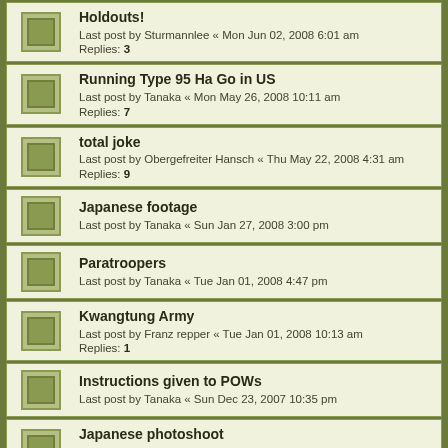Holdouts! – Last post by Sturmannlee « Mon Jun 02, 2008 6:01 am – Replies: 3
Running Type 95 Ha Go in US – Last post by Tanaka « Mon May 26, 2008 10:11 am – Replies: 7
total joke – Last post by Obergefreiter Hansch « Thu May 22, 2008 4:31 am – Replies: 9
Japanese footage – Last post by Tanaka « Sun Jan 27, 2008 3:00 pm
Paratroopers – Last post by Tanaka « Tue Jan 01, 2008 4:47 pm
Kwangtung Army – Last post by Franz repper « Tue Jan 01, 2008 10:13 am – Replies: 1
Instructions given to POWs – Last post by Tanaka « Sun Dec 23, 2007 10:35 pm
Japanese photoshoot – Last post by The Sorrow « Sun Dec 02, 2007 6:01 pm – Replies: 10
Japanese WWII sub sailors remembered